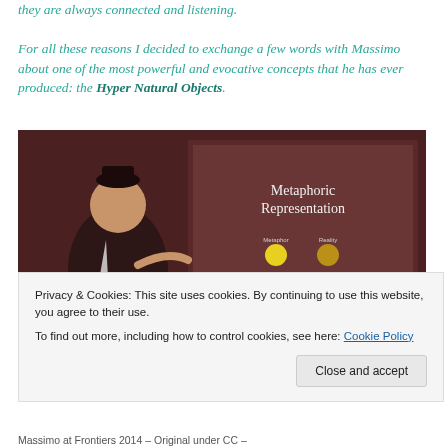For all these reasons I decided to exchange a few words with Massimo about one of the most powerful and evocative concepts that he has ever produced: the Hyper Natural Objects.
[Figure (photo): A speaker on stage presenting a slide showing 'Metaphoric Representation' with two circles labeled Metaphor and Reality, and a decorative box on the table.]
Privacy & Cookies: This site uses cookies. By continuing to use this website, you agree to their use. To find out more, including how to control cookies, see here: Cookie Policy
Massimo at Frontiers 2014 – Original under CC –